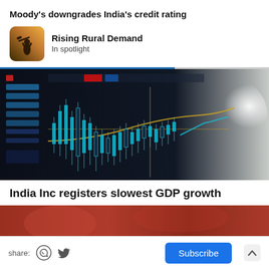Moody's downgrades India's credit rating
[Figure (illustration): App icon showing a silhouette of a person with a pickaxe against a golden/sunset background]
Rising Rural Demand
In spotlight
[Figure (photo): Close-up photo of a financial trading screen showing blue candlestick charts with golden trendlines on a dark background]
India Inc registers slowest GDP growth
[Figure (photo): Partial photo strip showing a blurred reddish/warm-toned image]
share:
Subscribe